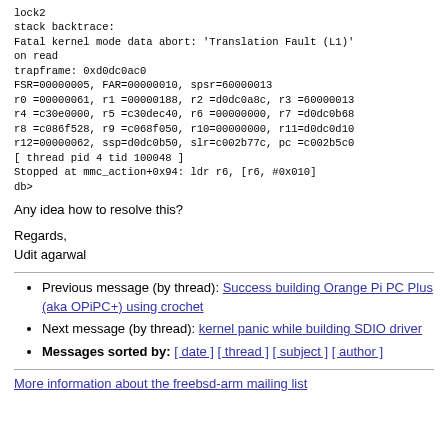lock2
stack backtrace:
Fatal kernel mode data abort: 'Translation Fault (L1)'
on read
trapframe: 0xd0dc0ac0
FSR=00000005, FAR=00000010, spsr=60000013
r0 =00000061, r1 =00000188, r2 =d0dc0a8c, r3 =60000013
r4 =c30e0000, r5 =c30dec40, r6 =00000000, r7 =d0dc0b68
r8 =c086f528, r9 =c068f050, r10=00000000, r11=d0dc0d10
r12=00000062, ssp=d0dc0b50, slr=c002b77c, pc =c002b5c0
[ thread pid 4 tid 100048 ]
Stopped at mmc_action+0x94: ldr r6, [r6, #0x010]
db>
Any idea how to resolve this?
Regards,
Udit agarwal
Previous message (by thread): Success building Orange Pi PC Plus (aka OPiPC+) using crochet
Next message (by thread): kernel panic while building SDIO driver
Messages sorted by: [ date ] [ thread ] [ subject ] [ author ]
More information about the freebsd-arm mailing list